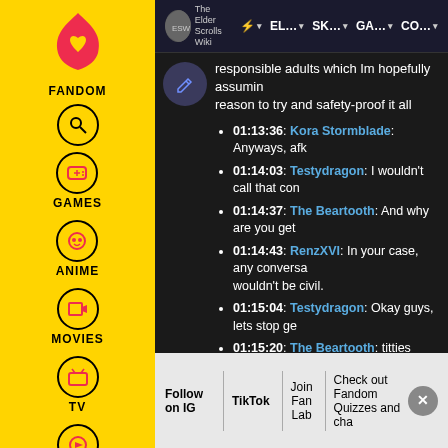[Figure (screenshot): Fandom website sidebar with yellow background showing navigation icons for Games, Anime, Movies, TV, Video categories with circular icons]
The Elder Scrolls Wiki | AA | EL... | SK... | GA... | CO...
responsible adults which Im hopefully assuming reason to try and safety-proof it all
01:13:36: Kora Stormblade: Anyways, afk
01:14:03: Testydragon: I wouldn't call that con
01:14:37: The Beartooth: And why are you get
01:14:43: RenzXVI: In your case, any conversa wouldn't be civil.
01:15:04: Testydragon: Okay guys, lets stop ge
01:15:20: The Beartooth: titties
01:15:27: Kora Stormblade: I dont think I was e beartooth. Im just trying to point out why the o because dragon kept mentioning it when there
01:15:41: RenzXVI: There are times someone o
Follow on IG | TikTok | Join Fan Lab | Check out Fandom Quizzes and cha